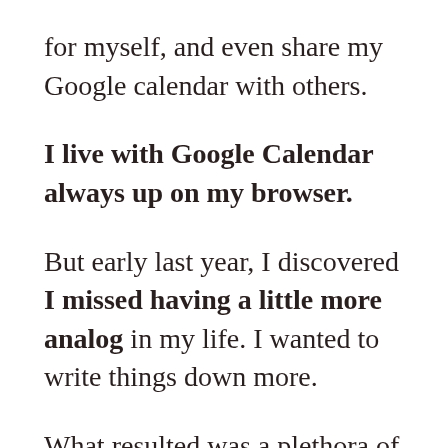for myself, and even share my Google calendar with others.
I live with Google Calendar always up on my browser.
But early last year, I discovered I missed having a little more analog in my life. I wanted to write things down more.
What resulted was a plethora of post-it notes.